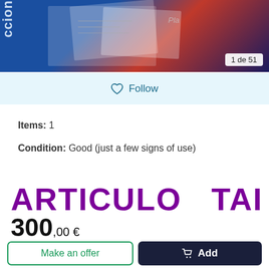[Figure (photo): Product listing photo showing documents/papers on a blue and red background. Badge reads '1 de 51'.]
Follow
Items: 1
Condition: Good (just a few signs of use)
ARTICULO TAL
300,00 €
Make an offer
Add